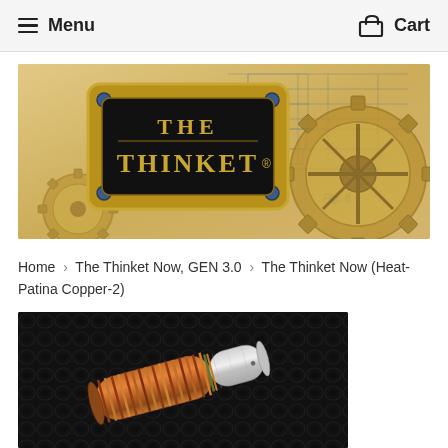Menu   Cart
[Figure (illustration): The Thinket brand banner image with steampunk aesthetic: gold ornate frame with black plaque reading 'THE THINKET®' in gold serif letters, gears and blueprint/schematic drawings in background on aged parchment background with 'FIG. 6' label.]
Home › The Thinket Now, GEN 3.0 › The Thinket Now (Heat-Patina Copper-2)
[Figure (photo): Close-up photo of a cylindrical copper and metal object (The Thinket Now Heat-Patina Copper-2) resting on dark textured leather/crocodile skin surface. The object shows copper coil windings with heat patina coloring on one end and a silver/steel cylindrical section on the other end.]